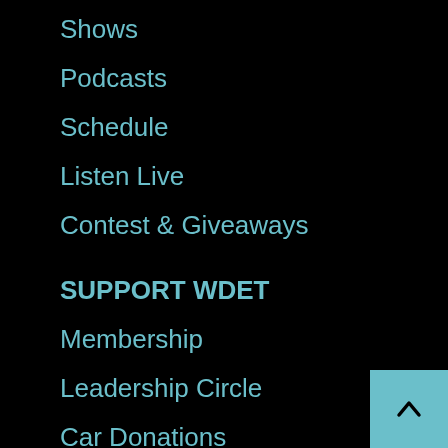Shows
Podcasts
Schedule
Listen Live
Contest & Giveaways
SUPPORT WDET
Membership
Leadership Circle
Car Donations
Business Sponsorship
More »
INSIDE WDET